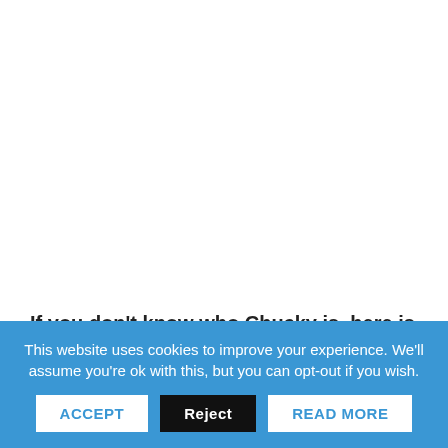If you don't know who Chucky is, here is all the information about him below!
“Charles Lee Ray (also known as “The Lakeshore Strangler”, and nicknamed “Chucky”) is a character and
This website uses cookies to improve your experience. We'll assume you're ok with this, but you can opt-out if you wish.
ACCEPT | Reject | READ MORE